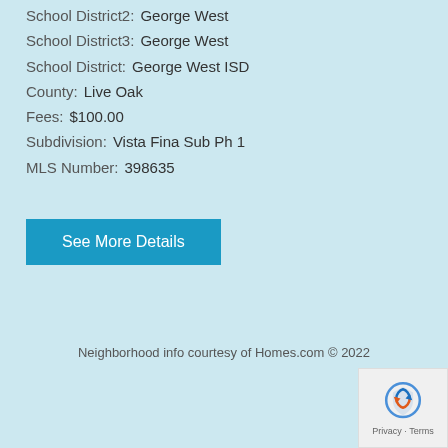School District2:  George West
School District3:  George West
School District:  George West ISD
County:  Live Oak
Fees:  $100.00
Subdivision:  Vista Fina Sub Ph 1
MLS Number:  398635
See More Details
Neighborhood info courtesy of Homes.com © 2022